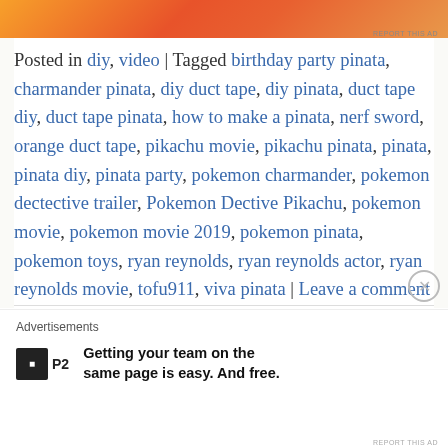[Figure (other): Decorative orange and red gradient banner at top of page with floral pattern]
Posted in diy, video | Tagged birthday party pinata, charmander pinata, diy duct tape, diy pinata, duct tape diy, duct tape pinata, how to make a pinata, nerf sword, orange duct tape, pikachu movie, pikachu pinata, pinata, pinata diy, pinata party, pokemon charmander, pokemon dectective trailer, Pokemon Dective Pikachu, pokemon movie, pokemon movie 2019, pokemon pinata, pokemon toys, ryan reynolds, ryan reynolds actor, ryan reynolds movie, tofu911, viva pinata | Leave a comment
Advertisements
[Figure (logo): P2 logo - black square icon with P2 text]
Getting your team on the same page is easy. And free.